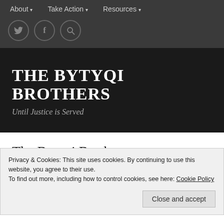About ▾   Take Action ▾   Resources ▾
[Figure (illustration): Social media icon circles: Twitter bird, Facebook f, and magnifying glass search icon]
THE BYTYQI BROTHERS
Until Justice is Served
The Bytyqi Brothers
At the end of the Kosovo war in 1999, three American
Privacy & Cookies: This site uses cookies. By continuing to use this website, you agree to their use.
To find out more, including how to control cookies, see here: Cookie Policy
Close and accept